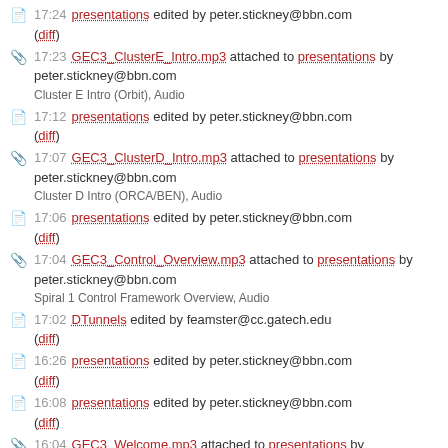17:24 presentations edited by peter.stickney@bbn.com (diff)
17:23 GEC3_ClusterE_Intro.mp3 attached to presentations by peter.stickney@bbn.com — Cluster E Intro (Orbit), Audio
17:12 presentations edited by peter.stickney@bbn.com (diff)
17:07 GEC3_ClusterD_Intro.mp3 attached to presentations by peter.stickney@bbn.com — Cluster D Intro (ORCA/BEN), Audio
17:06 presentations edited by peter.stickney@bbn.com (diff)
17:04 GEC3_Control_Overview.mp3 attached to presentations by peter.stickney@bbn.com — Spiral 1 Control Framework Overview, Audio
17:02 DTunnels edited by feamster@cc.gatech.edu (diff)
16:26 presentations edited by peter.stickney@bbn.com (diff)
16:08 presentations edited by peter.stickney@bbn.com (diff)
16:04 GEC3_Welcome.mp3 attached to presentations by